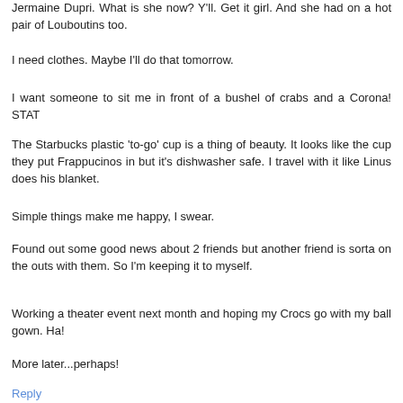Jermaine Dupri. What is she now? Y'll. Get it girl. And she had on a hot pair of Louboutins too.
I need clothes. Maybe I'll do that tomorrow.
I want someone to sit me in front of a bushel of crabs and a Corona! STAT
The Starbucks plastic 'to-go' cup is a thing of beauty. It looks like the cup they put Frappucinos in but it's dishwasher safe. I travel with it like Linus does his blanket.
Simple things make me happy, I swear.
Found out some good news about 2 friends but another friend is sorta on the outs with them. So I'm keeping it to myself.
Working a theater event next month and hoping my Crocs go with my ball gown. Ha!
More later...perhaps!
Reply